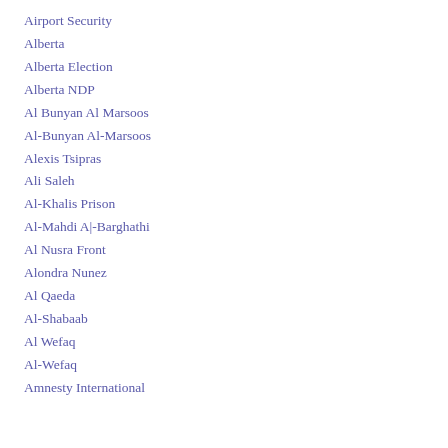Airport Security
Alberta
Alberta Election
Alberta NDP
Al Bunyan Al Marsoos
Al-Bunyan Al-Marsoos
Alexis Tsipras
Ali Saleh
Al-Khalis Prison
Al-Mahdi Al-Barghathi
Al Nusra Front
Alondra Nunez
Al Qaeda
Al-Shabaab
Al Wefaq
Al-Wefaq
Amnesty International